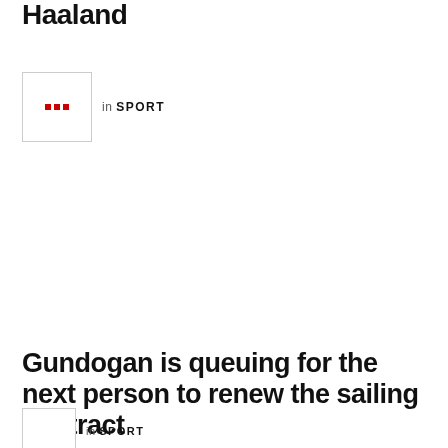Haaland
[Figure (other): Thumbnail image placeholder with red dots icon, tagged in SPORT]
Gundogan is queuing for the next person to renew the sailing contract
[Figure (other): Thumbnail image placeholder tagged in SPORT]